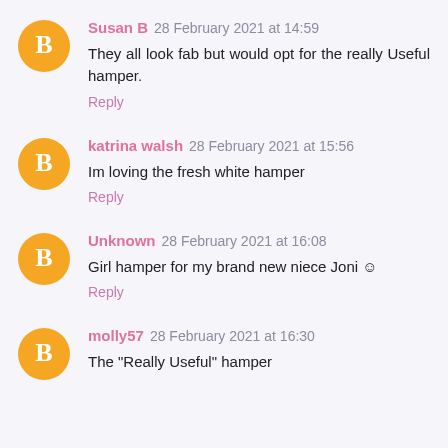Susan B 28 February 2021 at 14:59
They all look fab but would opt for the really Useful hamper.
Reply
katrina walsh 28 February 2021 at 15:56
Im loving the fresh white hamper
Reply
Unknown 28 February 2021 at 16:08
Girl hamper for my brand new niece Joni ☺
Reply
molly57 28 February 2021 at 16:30
The "Really Useful" hamper